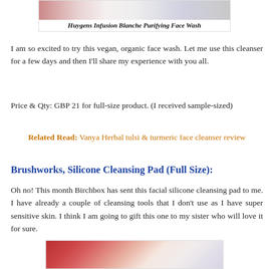[Figure (photo): Product image of Huygens Infusion Blanche Purifying Face Wash with caption below]
Huygens Infusion Blanche Purifying Face Wash
I am so excited to try this vegan, organic face wash. Let me use this cleanser for a few days and then I'll share my experience with you all.
Price & Qty: GBP 21 for full-size product. (I received sample-sized)
Related Read: Vanya Herbal tulsi & turmeric face cleanser review
Brushworks, Silicone Cleansing Pad (Full Size):
Oh no! This month Birchbox has sent this facial silicone cleansing pad to me. I have already a couple of cleansing tools that I don't use as I have super sensitive skin. I think I am going to gift this one to my sister who will love it for sure.
[Figure (photo): Bottom product image showing red patterned items]